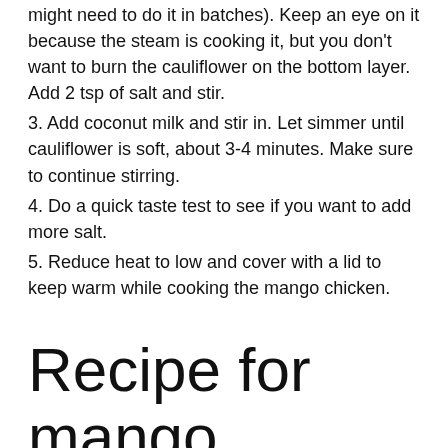might need to do it in batches). Keep an eye on it because the steam is cooking it, but you don't want to burn the cauliflower on the bottom layer. Add 2 tsp of salt and stir.
3. Add coconut milk and stir in. Let simmer until cauliflower is soft, about 3-4 minutes. Make sure to continue stirring.
4. Do a quick taste test to see if you want to add more salt.
5. Reduce heat to low and cover with a lid to keep warm while cooking the mango chicken.
Recipe for mango chicken
Prep: 35 minutes • Cook time: 15 minutes